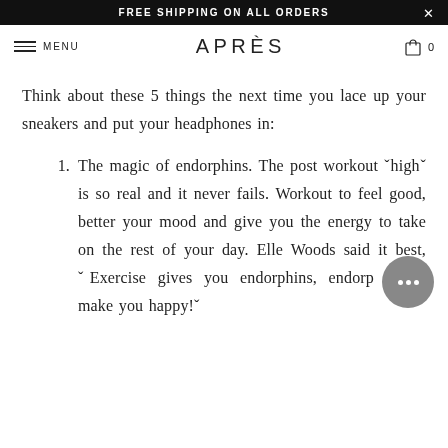FREE SHIPPING ON ALL ORDERS
APRÈS
Think about these 5 things the next time you lace up your sneakers and put your headphones in:
The magic of endorphins. The post workout "high" is so real and it never fails. Workout to feel good, better your mood and give you the energy to take on the rest of your day. Elle Woods said it best, "Exercise gives you endorphins, endorphins make you happy!"